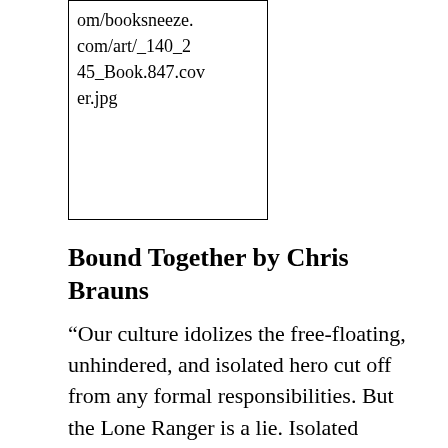[Figure (other): A box containing a partial URL text: om/booksneeze.com/art/_140_245_Book.847.cover.jpg]
Bound Together by Chris Brauns
“Our culture idolizes the free-floating, unhindered, and isolated hero cut off from any formal responsibilities. But the Lone Ranger is a lie. Isolated heroes like Jack Reacher do not exist.” Though we may make noises that insist that the culture at large does not affect the Church, this too is a falsehood. This meme of